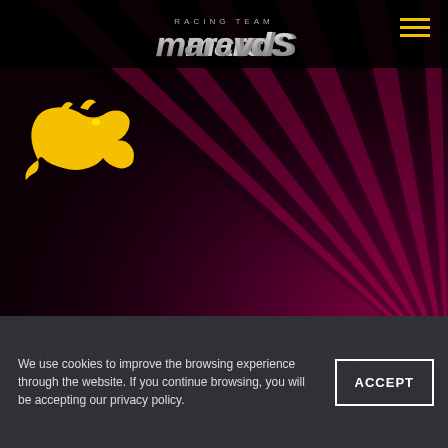[Figure (logo): Marc VDS Racing Team logo - stylized italic text 'marcvdS' with 'RACING TEAM' above in small caps, silver/white gradient lettering on dark background]
[Figure (logo): Yellow stylized cat/panther silhouette logo on dark background, upper left of main content area]
[Figure (illustration): Dark background with dramatic purple/magenta ray beams radiating from lower right, creating a spotlight/sunburst effect on dark maroon/black background]
FABIAN SCHILLER CROWNED CHAMPION IN SPA
We use cookies to improve the browsing experience through the website. If you continue browsing, you will be accepting our privacy policy.
ACCEPT